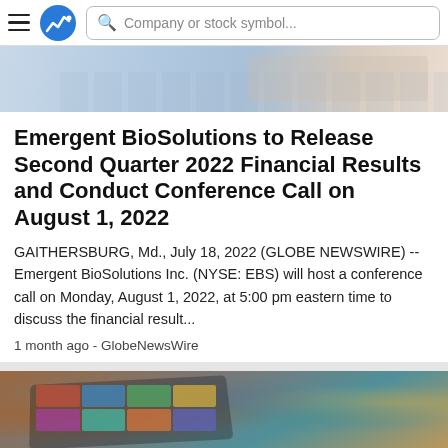Company or stock symbol...
[Figure (photo): Partial view of a laptop/keyboard on a desk, cropped at the top of the article card]
Emergent BioSolutions to Release Second Quarter 2022 Financial Results and Conduct Conference Call on August 1, 2022
GAITHERSBURG, Md., July 18, 2022 (GLOBE NEWSWIRE) -- Emergent BioSolutions Inc. (NYSE: EBS) will host a conference call on Monday, August 1, 2022, at 5:00 pm eastern time to discuss the financial result...
1 month ago - GlobeNewsWire
[Figure (photo): Close-up photo of a tablet displaying a grid of colorful photos, viewed at an angle on a flat surface]